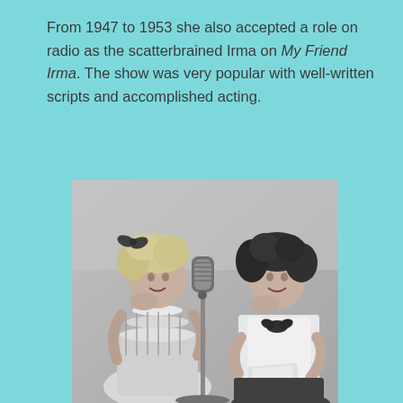From 1947 to 1953 she also accepted a role on radio as the scatterbrained Irma on My Friend Irma. The show was very popular with well-written scripts and accomplished acting.
[Figure (photo): Black and white photograph of two women posing near a microphone stand. The woman on the left has curly blonde hair with a bow and is wearing a ruffled outfit, leaning her chin on her hand. The woman on the right has dark curly hair and is wearing a white blouse with a dark bow, also leaning on her hand. A vintage microphone stands between them.]